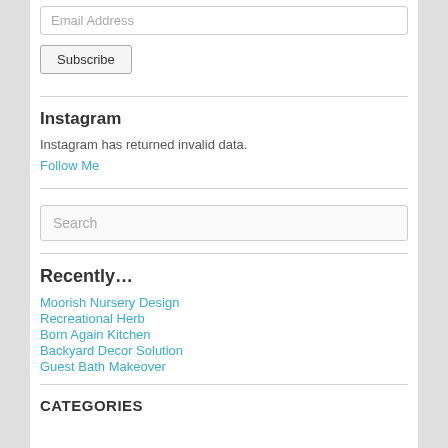Email Address
Subscribe
Instagram
Instagram has returned invalid data.
Follow Me
Search
Recently...
Moorish Nursery Design
Recreational Herb
Born Again Kitchen
Backyard Decor Solution
Guest Bath Makeover
CATEGORIES